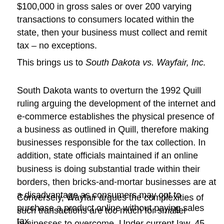$100,000 in gross sales or over 200 varying transactions to consumers located within the state, then your business must collect and remit tax – no exceptions.
This brings us to South Dakota vs. Wayfair, Inc.
South Dakota wants to overturn the 1992 Quill ruling arguing the development of the internet and e-commerce establishes the physical presence of a business as outlined in Quill, therefore making businesses responsible for the tax collection. In addition, state officials maintained if an online business is doing substantial trade within their borders, then bricks-and-mortar businesses are at a disadvantage as consumers may opt to purchase a product online without paying sales tax.
Conversely, Wayfair argues the complexities of such transactions are too much for smaller businesses to overcome. Under current law, 45 states and thousands of